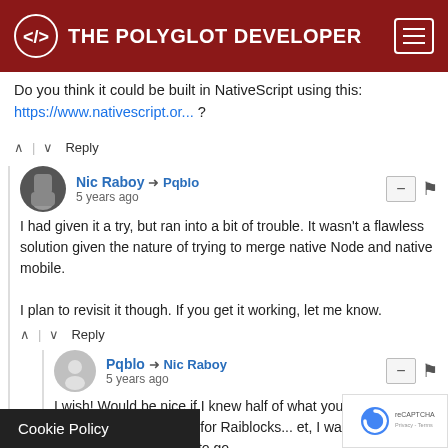THE POLYGLOT DEVELOPER
Do you think it could be built in NativeScript using this: https://www.nativescript.or... ?
^ | v  Reply
Nic Raboy → Pqblo • 5 years ago
I had given it a try, but ran into a bit of trouble. It wasn't a flawless solution given the nature of trying to merge native Node and native mobile.

I plan to revisit it though. If you get it working, let me know.
^ | v  Reply
Pqblo → Nic Raboy • 5 years ago
I wish! Would be nice if I knew half of what you do... trying to build something similar for Raiblocks... et, I was just wondering which route to go